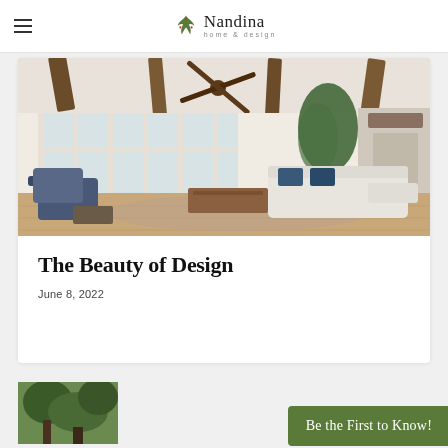Nandina home & design
[Figure (photo): Interior living room with high ceilings, exposed wooden beams, ceiling fan, large French doors/windows, a large potted tree, light linen sofas, navy blue armchairs, a wooden coffee table, and light hardwood floors.]
The Beauty of Design
June 8, 2022
[Figure (photo): Partial view of outdoor trees, bottom of page.]
Be the First to Know!